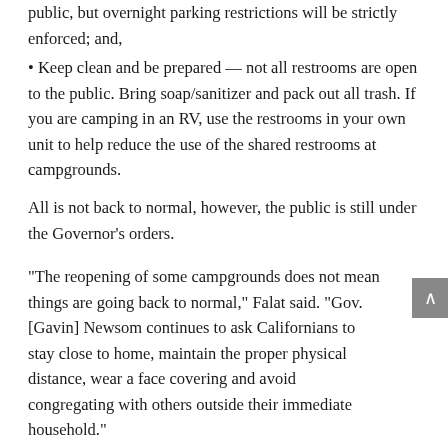public, but overnight parking restrictions will be strictly enforced; and,
• Keep clean and be prepared — not all restrooms are open to the public. Bring soap/sanitizer and pack out all trash. If you are camping in an RV, use the restrooms in your own unit to help reduce the use of the shared restrooms at campgrounds.
All is not back to normal, however, the public is still under the Governor's orders.
“The reopening of some campgrounds does not mean things are going back to normal,” Falat said. “Gov. [Gavin] Newsom continues to ask Californians to stay close to home, maintain the proper physical distance, wear a face covering and avoid congregating with others outside their immediate household.”
And park rangers will be watching for compliance with the